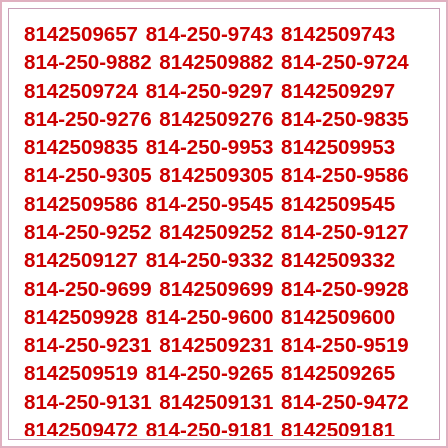8142509657 814-250-9743 8142509743 814-250-9882 8142509882 814-250-9724 8142509724 814-250-9297 8142509297 814-250-9276 8142509276 814-250-9835 8142509835 814-250-9953 8142509953 814-250-9305 8142509305 814-250-9586 8142509586 814-250-9545 8142509545 814-250-9252 8142509252 814-250-9127 8142509127 814-250-9332 8142509332 814-250-9699 8142509699 814-250-9928 8142509928 814-250-9600 8142509600 814-250-9231 8142509231 814-250-9519 8142509519 814-250-9265 8142509265 814-250-9131 8142509131 814-250-9472 8142509472 814-250-9181 8142509181 814-250-9218 8142509218 814-250-9078 8142509078 814-250-9025 8142509025 814-250-9610 8142509610 814-250-9831 8142509831 814-250-9212 8142509212 814-250-9327 8142509327 814-250-9032 8142509032 814-250-9920 8142509920 814-250-9787 8142509787 814-250-9674 8142509674 814-250-9288 8142509288 814-